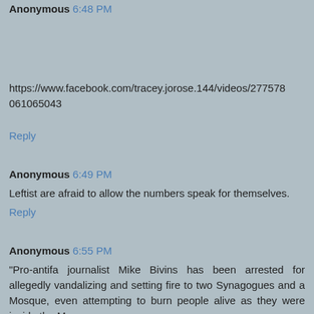Anonymous 6:48 PM
https://www.facebook.com/tracey.jorose.144/videos/277578061065043
Reply
Anonymous 6:49 PM
Leftist are afraid to allow the numbers speak for themselves.
Reply
Anonymous 6:55 PM
“Pro-antifa journalist Mike Bivins has been arrested for allegedly vandalizing and setting fire to two Synagogues and a Mosque, even attempting to burn people alive as they were inside the Mosque.